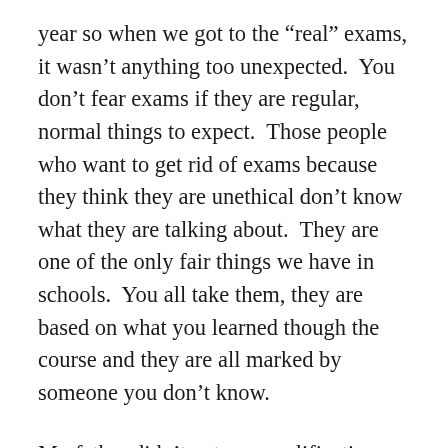year so when we got to the “real” exams, it wasn’t anything too unexpected.  You don’t fear exams if they are regular, normal things to expect.  Those people who want to get rid of exams because they think they are unethical don’t know what they are talking about.  They are one of the only fair things we have in schools.  You all take them, they are based on what you learned though the course and they are all marked by someone you don’t know.
My father didn’t get any qualifications.  He had some success and thanks to the baby boomer generation’s advantages was able to buy a nice, cheap, detached house in a quiet village for an